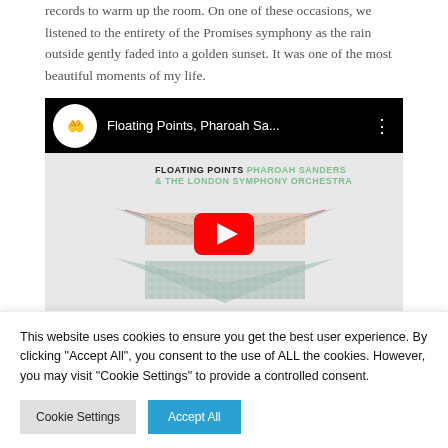records to warm up the room. On one of these occasions, we listened to the entirety of the Promises symphony as the rain outside gently faded into a golden sunset. It was one of the most beautiful moments of my life.
[Figure (screenshot): YouTube video thumbnail showing Floating Points, Pharoah Sanders & The London Symphony Orchestra album art with a YouTube play button overlay. The video title reads 'Floating Points, Pharoah Sa...' with a YouTube logo icon at top left.]
This website uses cookies to ensure you get the best user experience. By clicking "Accept All", you consent to the use of ALL the cookies. However, you may visit "Cookie Settings" to provide a controlled consent.